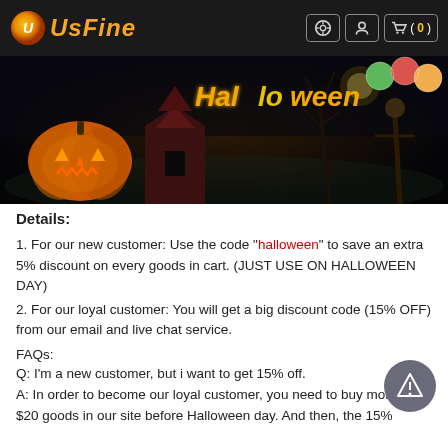UsFine — navigation header with logo and cart icon (0 items)
[Figure (photo): Halloween banner image showing a glowing jack-o-lantern pumpkin on the left against a dark spooky background with a haunted house, bare trees, and the word 'Halloween' written in stylized orange/golden text on the right with colorful candy/balloon decorations]
Details:
1. For our new customer: Use the code "halloween" to save an extra 5% discount on every goods in cart. (JUST USE ON HALLOWEEN DAY)
2. For our loyal customer: You will get a big discount code (15% OFF) from our email and live chat service.
FAQs:
Q: I'm a new customer, but i want to get 15% off.
A: In order to become our loyal customer, you need to buy more than $20 goods in our site before Halloween day. And then, the 15%